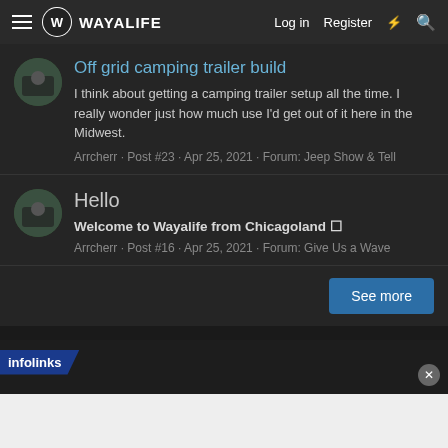WAYALIFE · Log in · Register
Off grid camping trailer build
I think about getting a camping trailer setup all the time. I really wonder just how much use I'd get out of it here in the Midwest.
Arrcherr · Post #23 · Apr 25, 2021 · Forum: Jeep Show & Tell
Hello
Welcome to Wayalife from Chicagoland 🙂
Arrcherr · Post #16 · Apr 25, 2021 · Forum: Give Us a Wave
See more
[Figure (screenshot): infolinks advertisement banner with close button]